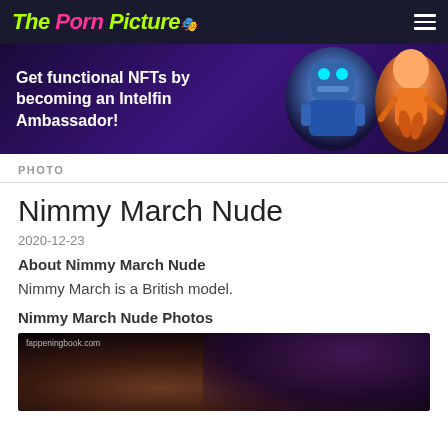The Porn Picture
[Figure (infographic): Advertisement banner: Get functional NFTs by becoming an Intelfin Ambassador! with robot and character illustrations on dark purple background]
PHOTO
Nimmy March Nude
2020-12-23
About Nimmy March Nude
Nimmy March is a British model.
Nimmy March Nude Photos
[Figure (photo): Partial photo with fappeningbook.com watermark, dark background with purple tones showing a figure]